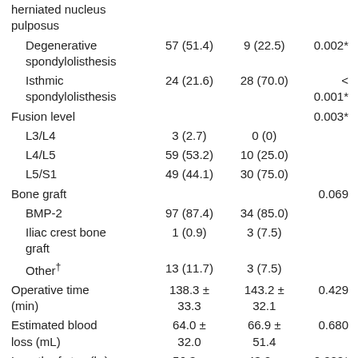|  | Group 1 | Group 2 | p-value |
| --- | --- | --- | --- |
| herniated nucleus pulposus |  |  |  |
|   Degenerative spondylolisthesis | 57 (51.4) | 9 (22.5) | 0.002* |
|   Isthmic spondylolisthesis | 24 (21.6) | 28 (70.0) | < 0.001* |
| Fusion level |  |  | 0.003* |
|   L3/L4 | 3 (2.7) | 0 (0) |  |
|   L4/L5 | 59 (53.2) | 10 (25.0) |  |
|   L5/S1 | 49 (44.1) | 30 (75.0) |  |
| Bone graft |  |  | 0.069 |
|   BMP-2 | 97 (87.4) | 34 (85.0) |  |
|   Iliac crest bone graft | 1 (0.9) | 3 (7.5) |  |
|   Other† | 13 (11.7) | 3 (7.5) |  |
| Operative time (min) | 138.3 ± 33.3 | 143.2 ± 32.1 | 0.429 |
| Estimated blood loss (mL) | 64.0 ± 32.0 | 66.9 ± 51.4 | 0.680 |
| Length of stay (hr) | 56.3 ± | 43.2 ± | 0.022* |